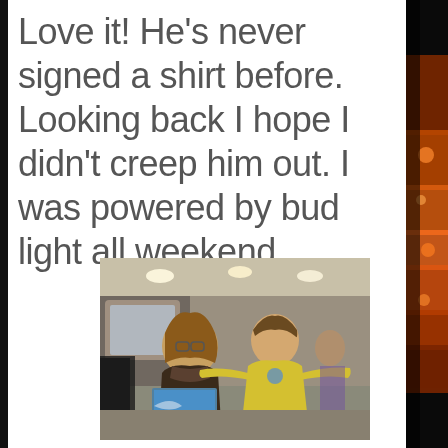Love it! He's never signed a shirt before. Looking back I hope I didn't creep him out. I was powered by bud light all weekend.
[Figure (photo): Two people posing for a photo indoors. A woman with glasses and curly hair on the left wearing a dark jacket, and a man on the right wearing a yellow t-shirt. The man is holding his arms out wide. The woman is holding what appears to be a Jaws 3D movie poster or item. The setting appears to be a convention or event venue with recessed lighting.]